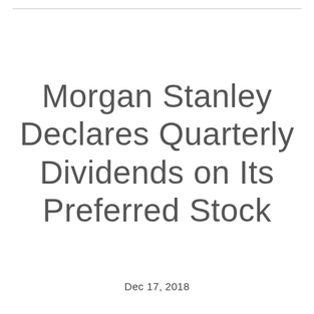Morgan Stanley Declares Quarterly Dividends on Its Preferred Stock
Dec 17, 2018